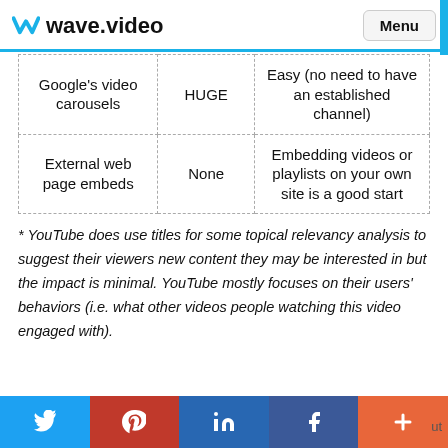wave.video  Menu
| Google's video carousels | HUGE | Easy (no need to have an established channel) |
| External web page embeds | None | Embedding videos or playlists on your own site is a good start |
* YouTube does use titles for some topical relevancy analysis to suggest their viewers new content they may be interested in but the impact is minimal. YouTube mostly focuses on their users' behaviors (i.e. what other videos people watching this video engaged with).